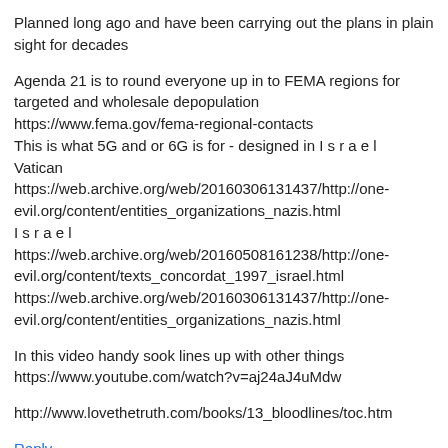Planned long ago and have been carrying out the plans in plain sight for decades
Agenda 21 is to round everyone up in to FEMA regions for targeted and wholesale depopulation https://www.fema.gov/fema-regional-contacts This is what 5G and or 6G is for - designed in I s r a e l Vatican https://web.archive.org/web/20160306131437/http://one-evil.org/content/entities_organizations_nazis.html I s r a e l https://web.archive.org/web/20160508161238/http://one-evil.org/content/texts_concordat_1997_israel.html https://web.archive.org/web/20160306131437/http://one-evil.org/content/entities_organizations_nazis.html
In this video handy sook lines up with other things https://www.youtube.com/watch?v=aj24aJ4uMdw
http://www.lovethetruth.com/books/13_bloodlines/toc.htm
Reply